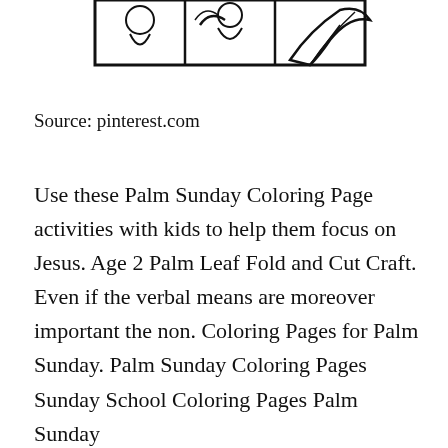[Figure (illustration): Partial view of a black-and-white coloring page illustration showing figures with palm leaves in a bordered frame, cropped at top of page.]
Source: pinterest.com
Use these Palm Sunday Coloring Page activities with kids to help them focus on Jesus. Age 2 Palm Leaf Fold and Cut Craft. Even if the verbal means are moreover important the non. Coloring Pages for Palm Sunday. Palm Sunday Coloring Pages Sunday School Coloring Pages Palm Sunday